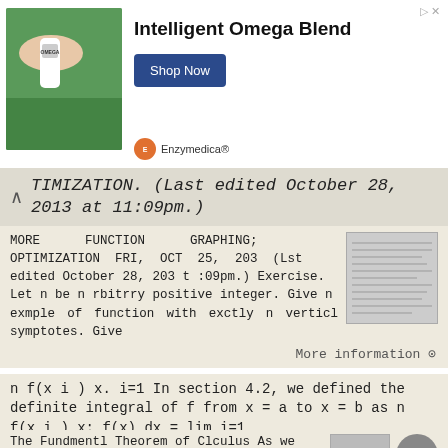[Figure (photo): Advertisement banner showing a hand holding a supplement bottle with green plant background, Intelligent Omega Blend by Enzymedica, with Shop Now button]
TIMIZATION. (Last edited October 28, 2013 at 11:09pm.)
MORE FUNCTION GRAPHING; OPTIMIZATION FRI, OCT 25, 203 (Lst edited October 28, 203 t :09pm.) Exercise. Let n be n rbitrry positive integer. Give n exmple of function with exctly n verticl symptotes. Give
More information →
n f(x i ) x. i=1 In section 4.2, we defined the definite integral of f from x = a to x = b as n f(x i ) x; f(x) dx = lim i=1
The Fundmentl Theorem of Clculus As we continue to study the re problem, let s think